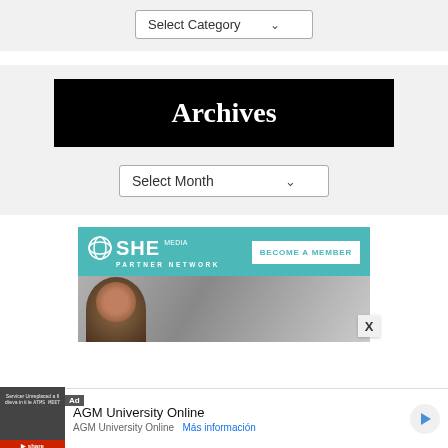[Figure (screenshot): Select Category dropdown UI element on a light gray background]
Archives
[Figure (screenshot): Select Month dropdown UI element on a light gray background]
[Figure (screenshot): SHE Media Partner Network advertisement banner with teal background, logo, BECOME A MEMBER button, and photo of smiling woman with glasses]
[Figure (screenshot): Bottom advertisement bar for AGM University Online with Ad label, play button icon, title text, subtitle, and Más información link]